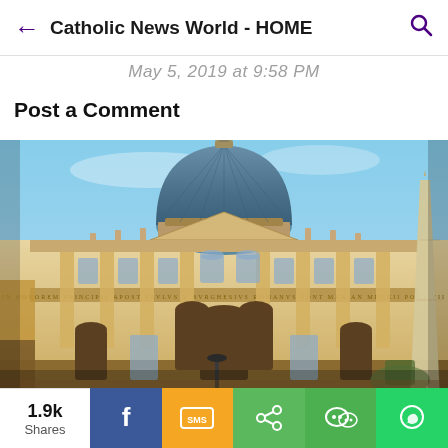Catholic News World - HOME
May 5, 2019 at 9:58 PM
Post a Comment
[Figure (photo): Photograph of St. Peter's Basilica in Vatican City, showing the iconic dome, facade with statues, columns, and an obelisk on the right side against a blue sky.]
1.9k Shares